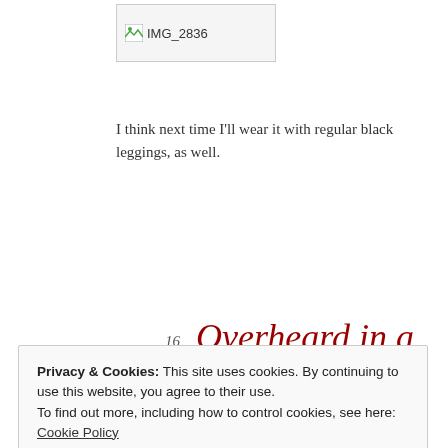[Figure (other): Broken/placeholder image labeled IMG_2836]
I think next time I'll wear it with regular black leggings, as well.
16
Tuesday
Jan 2018
Overheard in a classroom
Posted by zeesmuse in Uncategorized  ≈ Leave a comment
Privacy & Cookies: This site uses cookies. By continuing to use this website, you agree to their use.
To find out more, including how to control cookies, see here: Cookie Policy
Close and accept